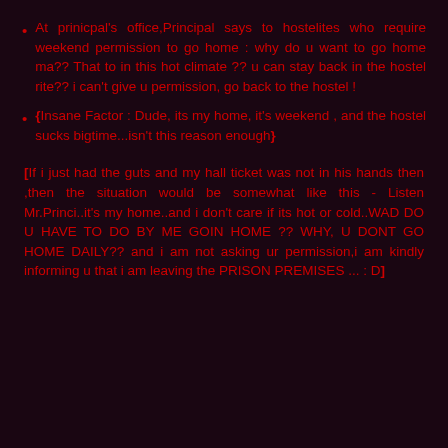At prinicpal's office,Principal says to hostelites who require weekend permission to go home : why do u want to go home ma?? That to in this hot climate ?? u can stay back in the hostel rite?? i can't give u permission, go back to the hostel !
{Insane Factor : Dude, its my home, it's weekend , and the hostel sucks bigtime...isn't this reason enough}
[If i just had the guts and my hall ticket was not in his hands then ,then the situation would be somewhat like this - Listen Mr.Princi..it's my home..and i don't care if its hot or cold..WAD DO U HAVE TO DO BY ME GOIN HOME ?? WHY, U DONT GO HOME DAILY?? and i am not asking ur permission,i am kindly informing u that i am leaving the PRISON PREMISES ... : D]